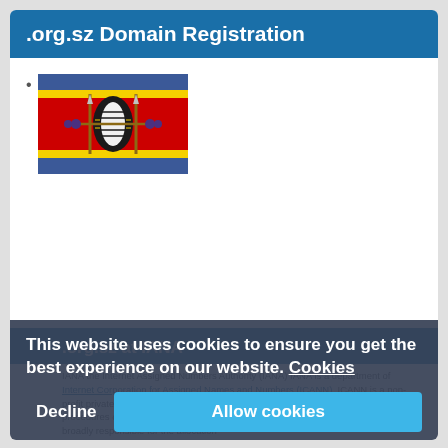.org.sz Domain Registration
[Figure (illustration): Flag of Eswatini (Swaziland) — horizontal bands of blue, yellow, red, yellow, blue with central Nguni shield and spears emblem]
.org.sz at IANA
IANA the Internet Assigned Numbers Authority (IANA) IANA is a department of Internet Corporation for Assigned Names and Numbers (ICANN). ICANN is a non-profit private American corporation, responsible for coordinating the maintenance and procedures of several databases related to the namespaces of the Internet. IANA is broadly responsible for the allocation of globally unique names and numbers that are used in Internet protocols.
This website uses cookies to ensure you get the best experience on our website. Cookies
Decline
Allow cookies